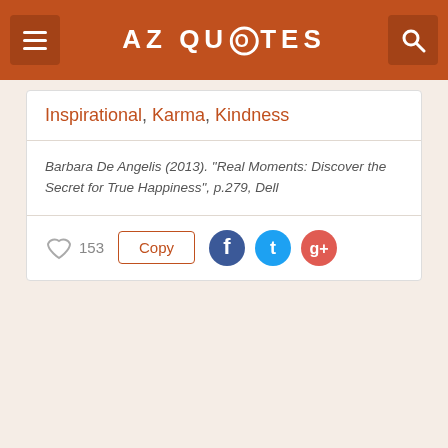AZ QUOTES
Inspirational, Karma, Kindness
Barbara De Angelis (2013). “Real Moments: Discover the Secret for True Happiness”, p.279, Dell
153 Copy